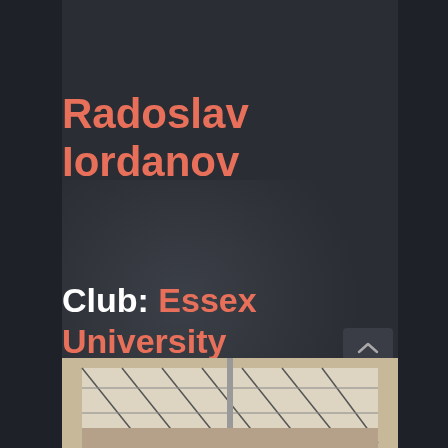Radoslav Iordanov
Club: Essex University
Years: 5
Coach J Club Member
[Figure (photo): Bottom strip showing a building structure with diagonal supports]